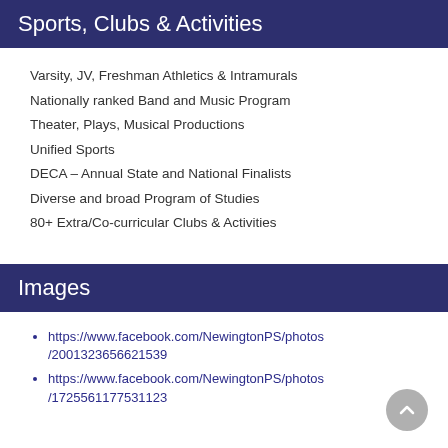Sports, Clubs & Activities
Varsity, JV, Freshman Athletics & Intramurals
Nationally ranked Band and Music Program
Theater, Plays, Musical Productions
Unified Sports
DECA – Annual State and National Finalists
Diverse and broad Program of Studies
80+ Extra/Co-curricular Clubs & Activities
Images
https://www.facebook.com/NewingtonPS/photos/2001323656621539
https://www.facebook.com/NewingtonPS/photos/1725561177531123